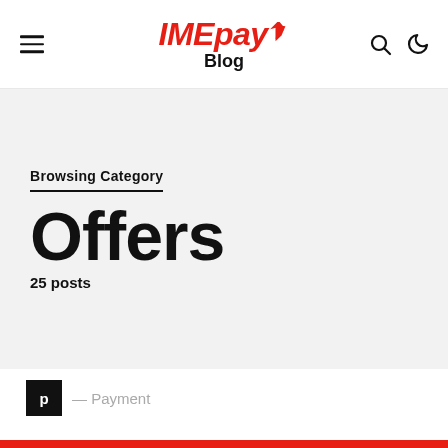IMEpay Blog
Browsing Category
Offers
25 posts
P — Payment